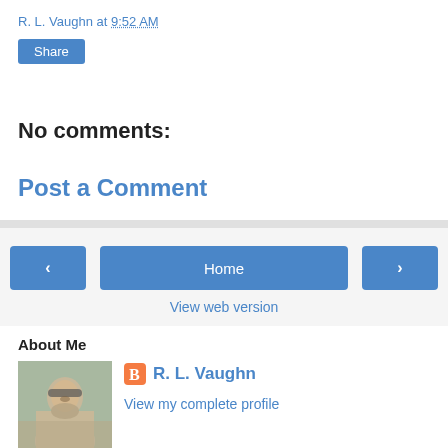R. L. Vaughn at 9:52 AM
Share
No comments:
Post a Comment
< Home >
View web version
About Me
[Figure (photo): Profile photo of R. L. Vaughn, a man with glasses and a beard]
R. L. Vaughn
View my complete profile
Powered by Blogger.